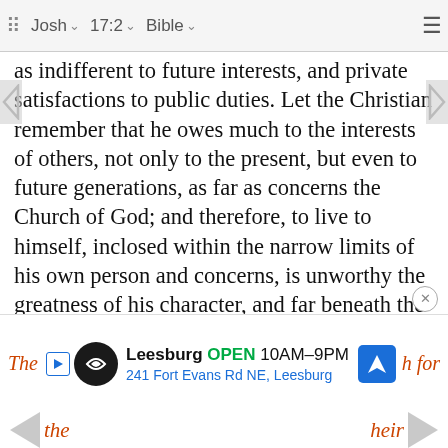Josh 17:2 Bible
as indifferent to future interests, and private satisfactions to public duties. Let the Christian remember that he owes much to the interests of others, not only to the present, but even to future generations, as far as concerns the Church of God; and therefore, to live to himself, inclosed within the narrow limits of his own person and concerns, is unworthy the greatness of his character, and far beneath the dignity of his being. Though nothing were wanting to render complete our personal estate or family patrimony, yet let us remember that we have much to achieve for others, for our brethren, and the cause of truth, that require self-denying and self-sacrificing exertions.
(W. Seaton.).
[Figure (other): Advertisement banner for Leesburg store: OPEN 10AM-9PM, 241 Fort Evans Rd NE, Leesburg, with logo and navigation icon]
The ... h for the ... heir